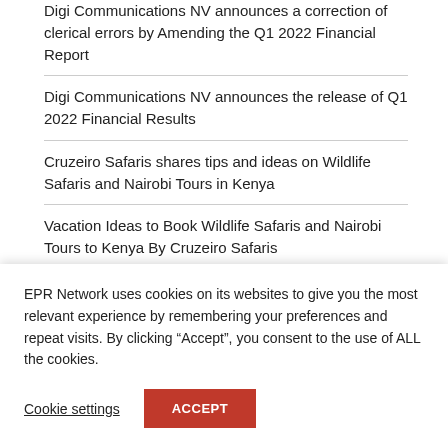Digi Communications NV announces a correction of clerical errors by Amending the Q1 2022 Financial Report
Digi Communications NV announces the release of Q1 2022 Financial Results
Cruzeiro Safaris shares tips and ideas on Wildlife Safaris and Nairobi Tours in Kenya
Vacation Ideas to Book Wildlife Safaris and Nairobi Tours to Kenya By Cruzeiro Safaris
Wacky Independent Comedy Romp “Stroke of Luck”
EPR Network uses cookies on its websites to give you the most relevant experience by remembering your preferences and repeat visits. By clicking “Accept”, you consent to the use of ALL the cookies.
Cookie settings
ACCEPT